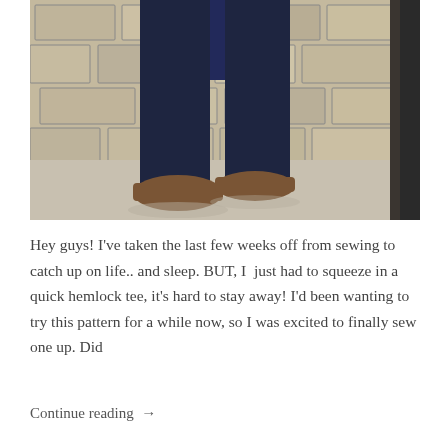[Figure (photo): Lower body photo of a person wearing dark navy skinny jeans and brown ankle boots/shoes, standing in front of a stone/brick wall background with concrete floor visible.]
Hey guys! I've taken the last few weeks off from sewing to catch up on life.. and sleep. BUT, I  just had to squeeze in a quick hemlock tee, it's hard to stay away! I'd been wanting to try this pattern for a while now, so I was excited to finally sew one up. Did
Continue reading →